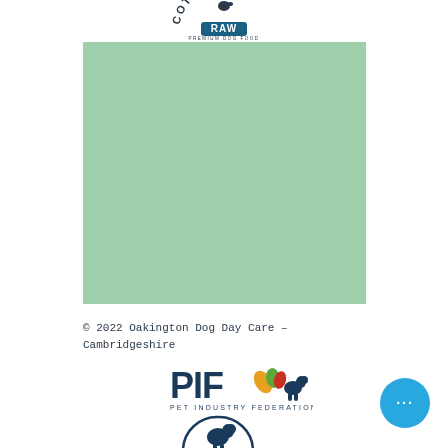[Figure (logo): Cotswold Raw premium dog food logo at the top center of the page]
[Figure (photo): Large green/sage colored square block, likely a product or placeholder image]
© 2022 Oakington Dog Day Care - Cambridgeshire
[Figure (logo): PIF Pet Industry Federation logo with colorful bird and dog silhouette]
[Figure (logo): Partial circular logo with dog silhouette at bottom of page]
[Figure (other): Blue circular button with three white dots (ellipsis/more options)]